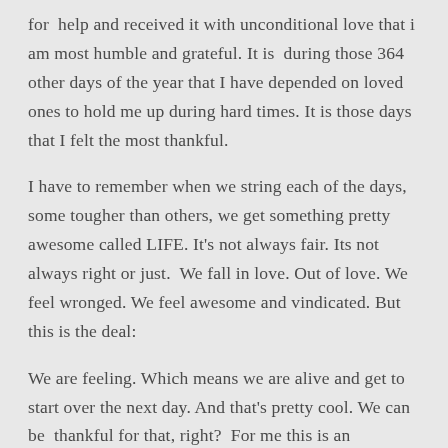for help and received it with unconditional love that i am most humble and grateful. It is during those 364 other days of the year that I have depended on loved ones to hold me up during hard times. It is those days that I felt the most thankful.
I have to remember when we string each of the days, some tougher than others, we get something pretty awesome called LIFE. It's not always fair. Its not always right or just. We fall in love. Out of love. We feel wronged. We feel awesome and vindicated. But this is the deal:
We are feeling. Which means we are alive and get to start over the next day. And that's pretty cool. We can be thankful for that, right? For me this is an